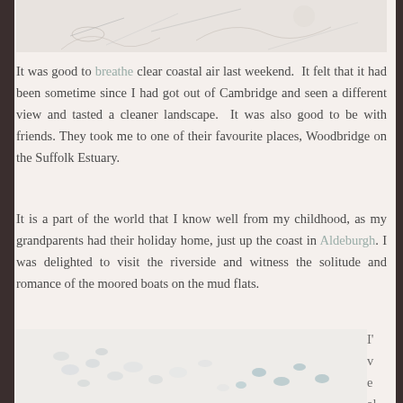[Figure (illustration): Partial view of a sketch/illustration at top of page, appears to show abstract organic or natural forms in pencil/ink]
It was good to breathe clear coastal air last weekend.  It felt that it had been sometime since I had got out of Cambridge and seen a different view and tasted a cleaner landscape.  It was also good to be with friends. They took me to one of their favourite places, Woodbridge on the Suffolk Estuary.
It is a part of the world that I know well from my childhood, as my grandparents had their holiday home, just up the coast in Aldeburgh. I was delighted to visit the riverside and witness the solitude and romance of the moored boats on the mud flats.
[Figure (photo): Soft-focus photograph of what appears to be small pebbles or organic forms scattered on a pale surface, with muted blue-grey and white tones]
I'
v
e
al